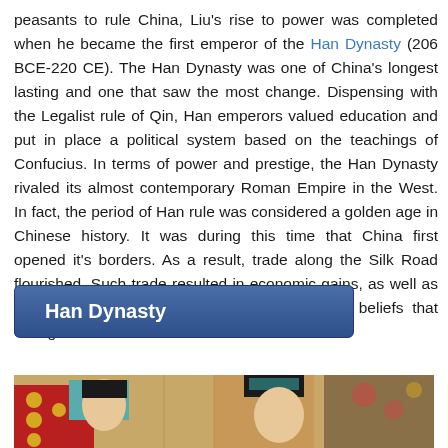peasants to rule China, Liu's rise to power was completed when he became the first emperor of the Han Dynasty (206 BCE-220 CE). The Han Dynasty was one of China's longest lasting and one that saw the most change. Dispensing with the Legalist rule of Qin, Han emperors valued education and put in place a political system based on the teachings of Confucius. In terms of power and prestige, the Han Dynasty rivaled its almost contemporary Roman Empire in the West. In fact, the period of Han rule was considered a golden age in Chinese history. It was during this time that China first opened it's borders. As a result, trade along the Silk Road flourished. Such trade resulted in economic gains, as well as an exchange of new ideas, technologies, and beliefs that changed cultures from East to West.
[Figure (other): A blue button/link labeled 'Han Dynasty']
[Figure (photo): Ancient Chinese painting or mural depicting figures in traditional Han Dynasty clothing, with red and teal colors visible]